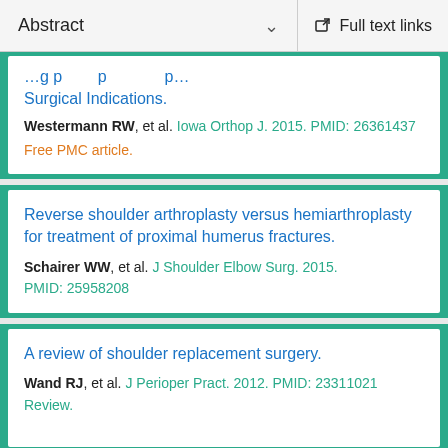Abstract  ∨   Full text links
Surgical Indications.
Westermann RW, et al. Iowa Orthop J. 2015. PMID: 26361437
Free PMC article.
Reverse shoulder arthroplasty versus hemiarthroplasty for treatment of proximal humerus fractures.
Schairer WW, et al. J Shoulder Elbow Surg. 2015.
PMID: 25958208
A review of shoulder replacement surgery.
Wand RJ, et al. J Perioper Pract. 2012. PMID: 23311021
Review.